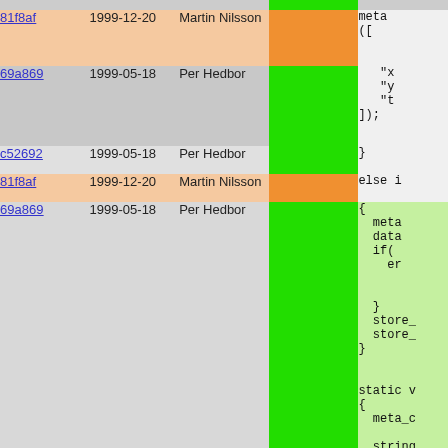| hash | date | author | bar | code |
| --- | --- | --- | --- | --- |
| 81f8af | 1999-12-20 | Martin Nilsson | | | meta
([ |
| 69a869 | 1999-05-18 | Per Hedbor | | | "x
"y
"t
]); |
| c52692 | 1999-05-18 | Per Hedbor | | | } |
| 81f8af | 1999-12-20 | Martin Nilsson | | | else i |
| 69a869 | 1999-05-18 | Per Hedbor | | | {
  meta
  data
  if(
    er

  }
  store_
  store_
}


static v
{
  meta_c

  string |
| 4f2d5f | 2000-02-12 | Per Hedbor | | | Stdio |